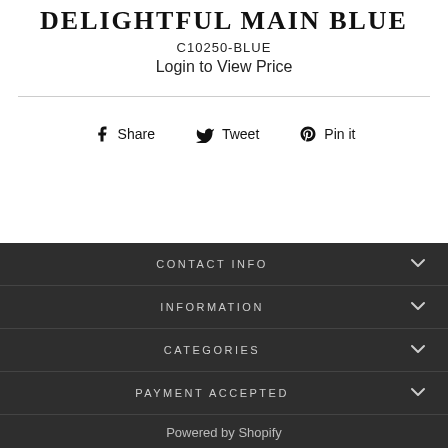DELIGHTFUL MAIN BLUE
C10250-BLUE
Login to View Price
Share  Tweet  Pin it
CONTACT INFO
INFORMATION
CATEGORIES
PAYMENT ACCEPTED
Powered by Shopify